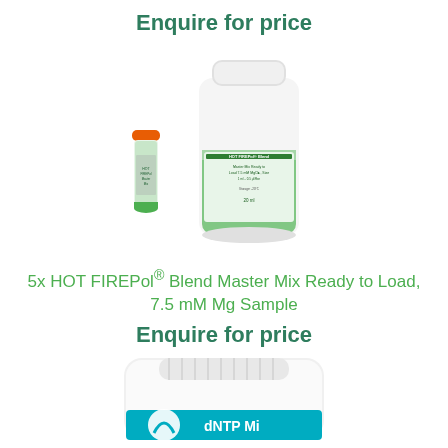Enquire for price
[Figure (photo): Product photo of 5x HOT FIREPol Blend Master Mix Ready to Load: a small green-capped tube with an orange lid and a larger white bottle filled with green liquid, both labeled]
5x HOT FIREPol® Blend Master Mix Ready to Load, 7.5 mM Mg Sample
Enquire for price
[Figure (photo): Partial product photo of a white plastic bottle with a teal/blue label partially visible, showing 'dNTP Mix' text at the bottom]